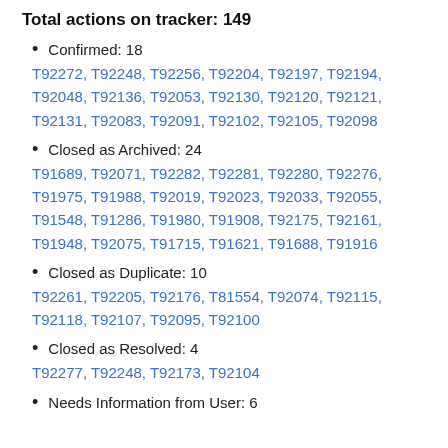Total actions on tracker: 149
Confirmed: 18
T92272, T92248, T92256, T92204, T92197, T92194, T92048, T92136, T92053, T92130, T92120, T92121, T92131, T92083, T92091, T92102, T92105, T92098
Closed as Archived: 24
T91689, T92071, T92282, T92281, T92280, T92276, T91975, T91988, T92019, T92023, T92033, T92055, T91548, T91286, T91980, T91908, T92175, T92161, T91948, T92075, T91715, T91621, T91688, T91916
Closed as Duplicate: 10
T92261, T92205, T92176, T81554, T92074, T92115, T92118, T92107, T92095, T92100
Closed as Resolved: 4
T92277, T92248, T92173, T92104
Needs Information from User: 6